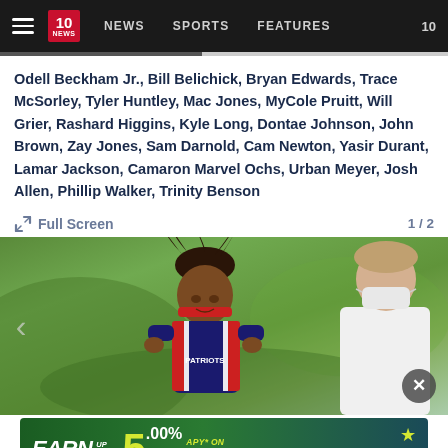10 NEWS | NEWS | SPORTS | FEATURES
Odell Beckham Jr., Bill Belichick, Bryan Edwards, Trace McSorley, Tyler Huntley, Mac Jones, MyCole Pruitt, Will Grier, Rashard Higgins, Kyle Long, Dontae Johnson, John Brown, Zay Jones, Sam Darnold, Cam Newton, Yasir Durant, Lamar Jackson, Camaron Marvel Ochs, Urban Meyer, Josh Allen, Phillip Walker, Trinity Benson
Full Screen    1 / 2
[Figure (photo): NFL player in New England Patriots uniform with red headband and dreadlocks crouching on field, person in white shirt and mask visible in background]
[Figure (advertisement): Freedom First bank advertisement: EARN UP TO 5.00% APY* ON CHECKING]